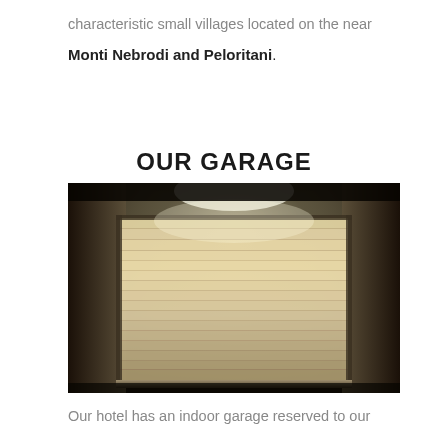characteristic small villages located on the near
Monti Nebrodi and Peloritani.
OUR GARAGE
[Figure (photo): Photo of a lit garage door at night — a metal roll-up/sectional garage door illuminated by a warm overhead light against a dark background.]
Our hotel has an indoor garage reserved to our